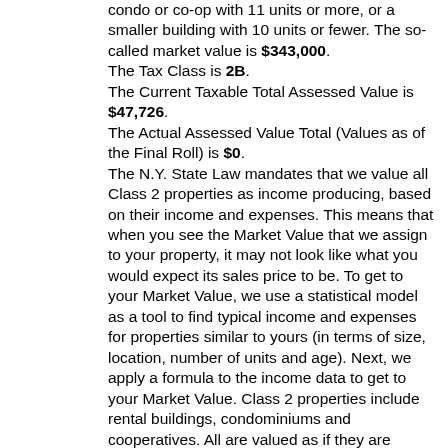condo or co-op with 11 units or more, or a smaller building with 10 units or fewer. The so-called market value is $343,000. The Tax Class is 2B. The Current Taxable Total Assessed Value is $47,726. The Actual Assessed Value Total (Values as of the Final Roll) is $0. The N.Y. State Law mandates that we value all Class 2 properties as income producing, based on their income and expenses. This means that when you see the Market Value that we assign to your property, it may not look like what you would expect its sales price to be. To get to your Market Value, we use a statistical model as a tool to find typical income and expenses for properties similar to yours (in terms of size, location, number of units and age). Next, we apply a formula to the income data to get to your Market Value. Class 2 properties include rental buildings, condominiums and cooperatives. All are valued as if they are income producing properties. There are variations in how we determine your Market Value depending on whether you live in a larger condo or co-op with 11 units or more, or a smaller building with 10 units or fewer. The